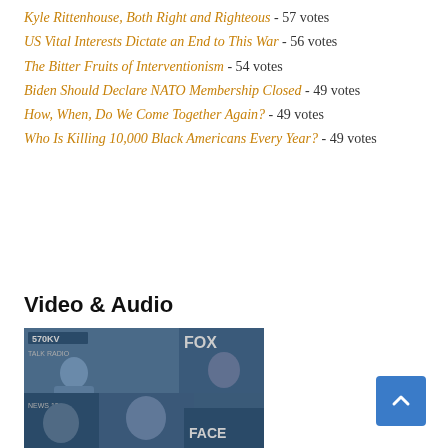Kyle Rittenhouse, Both Right and Righteous - 57 votes
US Vital Interests Dictate an End to This War - 56 votes
The Bitter Fruits of Interventionism - 54 votes
Biden Should Declare NATO Membership Closed - 49 votes
How, When, Do We Come Together Again? - 49 votes
Who Is Killing 10,000 Black Americans Every Year? - 49 votes
Video & Audio
[Figure (photo): Collage of black and white photos showing political commentators and media personalities on TV programs including talk radio, Fox News, and Face the Nation]